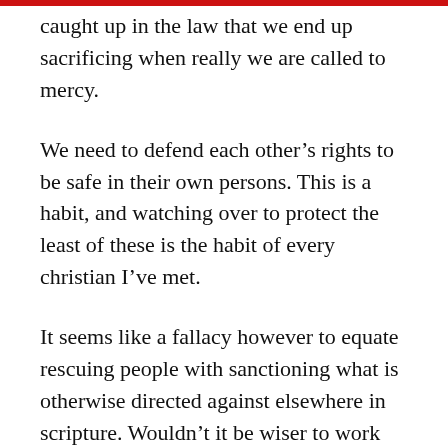caught up in the law that we end up sacrificing when really we are called to mercy.
We need to defend each other's rights to be safe in their own persons. This is a habit, and watching over to protect the least of these is the habit of every christian I've met.
It seems like a fallacy however to equate rescuing people with sanctioning what is otherwise directed against elsewhere in scripture. Wouldn't it be wiser to work towards changing laws so that everyone would have healthcare, and to define civil unions as legal valid instruments to uphold